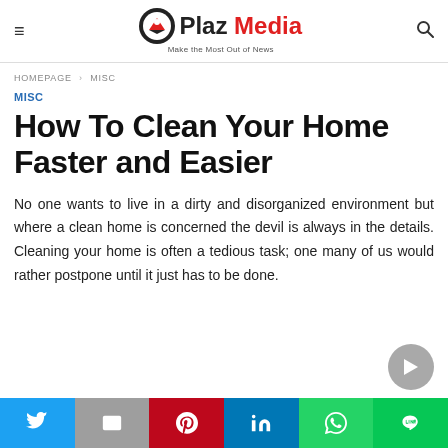Plaz Media – Make the Most Out of News
HOMEPAGE > MISC
MISC
How To Clean Your Home Faster and Easier
No one wants to live in a dirty and disorganized environment but where a clean home is concerned the devil is always in the details. Cleaning your home is often a tedious task; one many of us would rather postpone until it just has to be done.